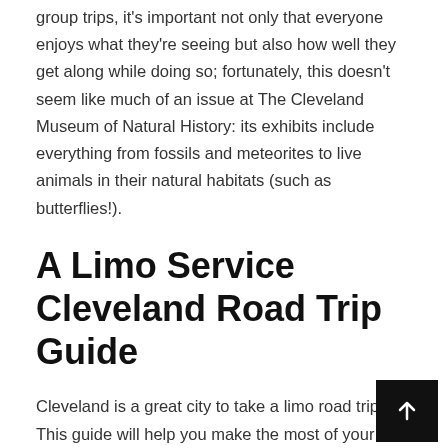group trips, it's important not only that everyone enjoys what they're seeing but also how well they get along while doing so; fortunately, this doesn't seem like much of an issue at The Cleveland Museum of Natural History: its exhibits include everything from fossils and meteorites to live animals in their natural habitats (such as butterflies!).
A Limo Service Cleveland Road Trip Guide
Cleveland is a great city to take a limo road trip. This guide will help you make the most of your time in Cleveland. Visiting attractions: The Rock and Roll Hall of Fame, the Great Lakes Science Center, the Museum of Contemporary Art Cleveland, Playhouse Square Center and The 9th Street Pier are all places to visit when you're in town. Dining out: There are amazing restaurants in Cleveland that serve up some of the best food around! Try out Lola Bistro & Bar, Johnny's Downtown or